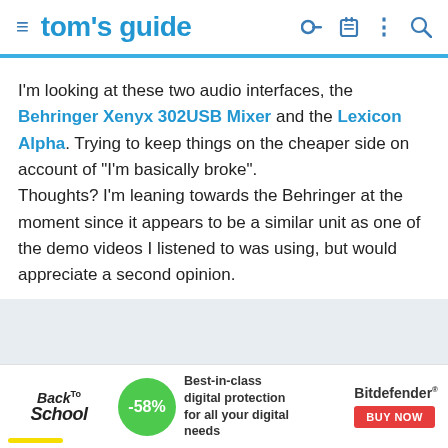tom's guide
I'm looking at these two audio interfaces, the Behringer Xenyx 302USB Mixer and the Lexicon Alpha. Trying to keep things on the cheaper side on account of "I'm basically broke". Thoughts? I'm leaning towards the Behringer at the moment since it appears to be a similar unit as one of the demo videos I listened to was using, but would appreciate a second opinion.
[Figure (other): Advertisement banner: Back to School with -58% discount badge, text 'Best-in-class digital protection for all your digital needs', Bitdefender logo, and BUY NOW button]